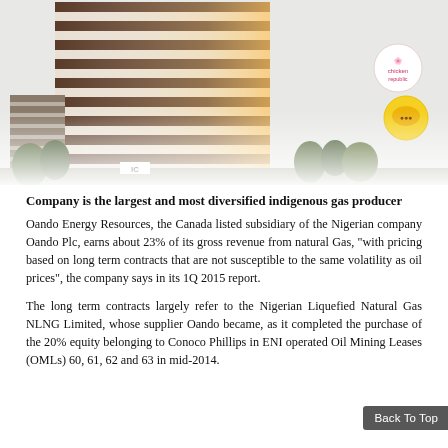[Figure (photo): Photograph of a tall multi-storey building with white and brown horizontal striped facade, with trees and smaller buildings visible. Two circular logos (Chicken Republic and another brand) visible on the right side of the image.]
Company is the largest and most diversified indigenous gas producer
Oando Energy Resources, the Canada listed subsidiary of the Nigerian company Oando Plc, earns about 23% of its gross revenue from natural Gas, “with pricing based on long term contracts that are not susceptible to the same volatility as oil prices”, the company says in its 1Q 2015 report.
The long term contracts largely refer to the Nigerian Liquefied Natural Gas NLNG Limited, whose supplier Oando became, as it completed the purchase of the 20% equity belonging to Conoco Phillips in ENI operated Oil Mining Leases (OMLs) 60, 61, 62 and 63 in mid-2014.